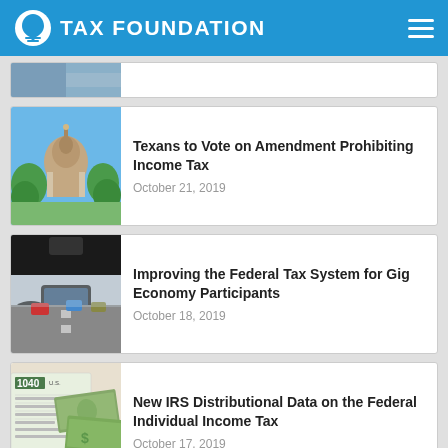TAX FOUNDATION
[Figure (screenshot): Partially visible article card at top of feed]
[Figure (photo): Texas State Capitol building with blue sky and trees]
Texans to Vote on Amendment Prohibiting Income Tax
October 21, 2019
[Figure (photo): View from inside a car on a highway, dashboard and traffic visible]
Improving the Federal Tax System for Gig Economy Participants
October 18, 2019
[Figure (photo): IRS 1040 tax form with US dollar bills]
New IRS Distributional Data on the Federal Individual Income Tax
October 17, 2019